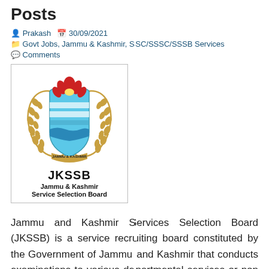Posts
Prakash   30/09/2021
Govt Jobs, Jammu & Kashmir, SSC/SSSC/SSSB Services
Comments
[Figure (logo): JKSSB logo - Jammu & Kashmir Service Selection Board emblem with text JKSSB and Jammu & Kashmir Service Selection Board]
Jammu and Kashmir Services Selection Board (JKSSB) is a service recruiting board constituted by the Government of Jammu and Kashmir that conducts examinations to various departmental services or non gazetted posts in Indian state of Jammu and Kashmir. The board has been constituted in exercise of powers conferred by Provision of Section 124 of the [...]